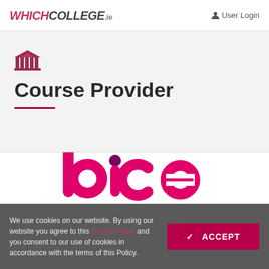WHICHCOLLEGE.IE  User Login
Course Provider
[Figure (logo): bice logo in pink/magenta color on white background]
We use cookies on our website. By using our website you agree to this Cookie Policy and you consent to our use of cookies in accordance with the terms of this Policy.